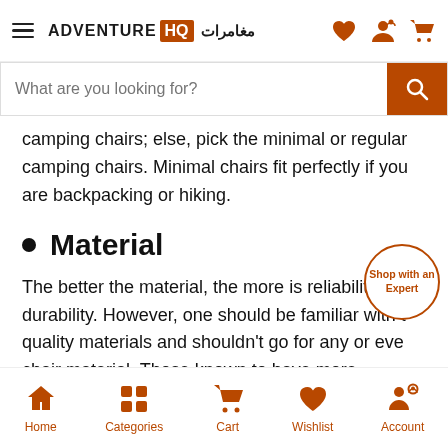Adventure HQ مغامرات
camping chairs; else, pick the minimal or regular camping chairs. Minimal chairs fit perfectly if you are backpacking or hiking.
Material
The better the material, the more is reliability and durability. However, one should be familiar with the quality materials and shouldn't go for any or every chair material. Those known to have more
Home  Categories  Cart  Wishlist  Account